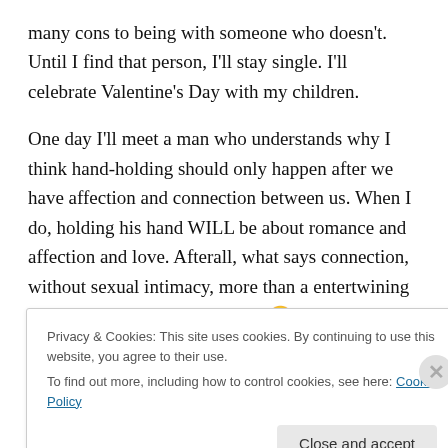many cons to being with someone who doesn't. Until I find that person, I'll stay single. I'll celebrate Valentine's Day with my children.
One day I'll meet a man who understands why I think hand-holding should only happen after we have affection and connection between us. When I do, holding his hand WILL be about romance and affection and love. Afterall, what says connection, without sexual intimacy, more than a entertwining your hands with your beloved? 🙂
Privacy & Cookies: This site uses cookies. By continuing to use this website, you agree to their use. To find out more, including how to control cookies, see here: Cookie Policy
Close and accept